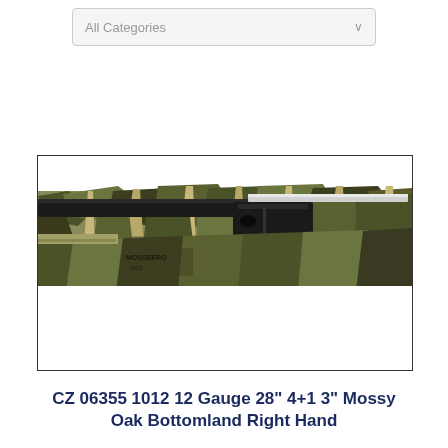[Figure (screenshot): Dropdown menu bar labeled 'All Categories' with a chevron/arrow on the right side]
[Figure (photo): Close-up product photo of a shotgun with Mossy Oak Bottomland camouflage pattern finish on stock and barrel, showing action and receiver area]
CZ 06355 1012 12 Gauge 28" 4+1 3" Mossy Oak Bottomland Right Hand